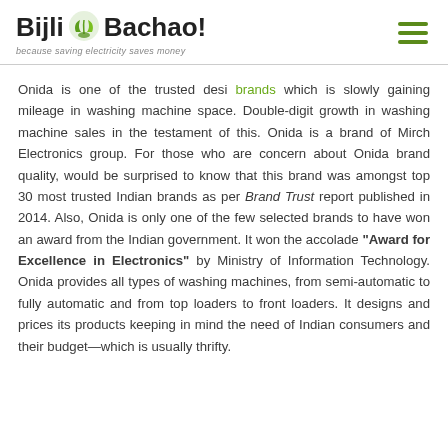Bijli Bachao! because saving electricity saves money
Onida is one of the trusted desi brands which is slowly gaining mileage in washing machine space. Double-digit growth in washing machine sales in the testament of this. Onida is a brand of Mirch Electronics group. For those who are concern about Onida brand quality, would be surprised to know that this brand was amongst top 30 most trusted Indian brands as per Brand Trust report published in 2014. Also, Onida is only one of the few selected brands to have won an award from the Indian government. It won the accolade “Award for Excellence in Electronics” by Ministry of Information Technology. Onida provides all types of washing machines, from semi-automatic to fully automatic and from top loaders to front loaders. It designs and prices its products keeping in mind the need of Indian consumers and their budget—which is usually thrifty.